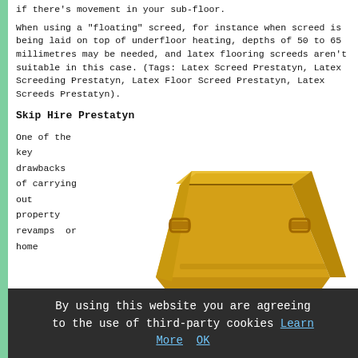if there's movement in your sub-floor.
When using a "floating" screed, for instance when screed is being laid on top of underfloor heating, depths of 50 to 65 millimetres may be needed, and latex flooring screeds aren't suitable in this case. (Tags: Latex Screed Prestatyn, Latex Screeding Prestatyn, Latex Floor Screed Prestatyn, Latex Screeds Prestatyn).
Skip Hire Prestatyn
One of the key drawbacks of carrying out property revamps or home
[Figure (photo): Yellow skip bin / waste container, 3D rendered image on white background]
refurbishments in Prestatyn is the sheer quantity of waste
By using this website you are agreeing to the use of third-party cookies Learn More  OK